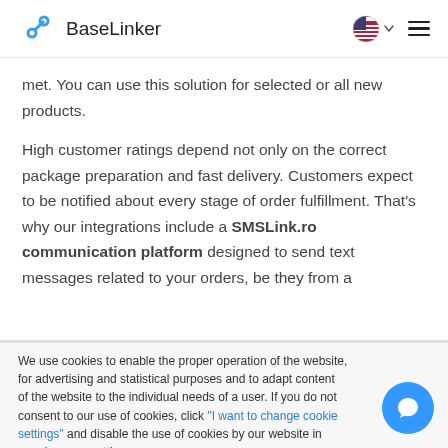BaseLinker
met. You can use this solution for selected or all new products.

High customer ratings depend not only on the correct package preparation and fast delivery. Customers expect to be notified about every stage of order fulfillment. That's why our integrations include a SMSLink.ro communication platform designed to send text messages related to your orders, be they from a
We use cookies to enable the proper operation of the website, for advertising and statistical purposes and to adapt content of the website to the individual needs of a user. If you do not consent to our use of cookies, click "I want to change cookie settings" and disable the use of cookies by our website in your browser settings.